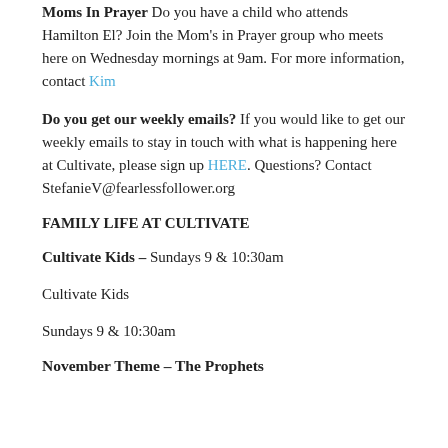providing a snack, reach out to Lauren to coordinate a convenient date for your snack drop off!
Moms In Prayer Do you have a child who attends Hamilton El? Join the Mom’s in Prayer group who meets here on Wednesday mornings at 9am. For more information, contact Kim
Do you get our weekly emails? If you would like to get our weekly emails to stay in touch with what is happening here at Cultivate, please sign up HERE. Questions? Contact StefanieV@fearlessfollower.org
FAMILY LIFE AT CULTIVATE
Cultivate Kids – Sundays 9 & 10:30am
Cultivate Kids
Sundays 9 & 10:30am
November Theme – The Prophets